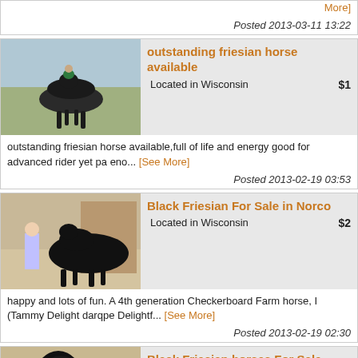[See More]
Posted 2013-03-11 13:22
[Figure (photo): Horse and rider in field, dressage pose]
outstanding friesian horse available
Located in Wisconsin
$1
outstanding friesian horse available,full of life and energy good for advanced rider yet pa eno... [See More]
Posted 2013-02-19 03:53
[Figure (photo): Black Friesian horse standing in stable with person]
Black Friesian For Sale in Norco
Located in Wisconsin
$2
happy and lots of fun. A 4th generation Checkerboard Farm horse, I (Tammy Delight darqpe Delightf... [See More]
Posted 2013-02-19 02:30
[Figure (photo): Black Friesian horse head/neck close-up portrait]
Black Friesian horses For Sale
Located in Wisconsin
$2
8 years old big stunning Friesia stallion. They are well ridden u the saddle and have a fantas... [See More]
Posted 2013-02-19 02:0